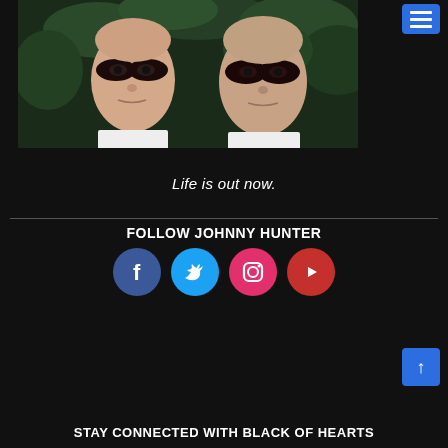[Figure (photo): Two young men with shaved heads and dark eye makeup, standing in front of green foliage. They are wearing white shirts and staring directly at camera.]
Life is out now.
FOLLOW JOHNNY HUNTER
[Figure (infographic): Row of four social media icons: Facebook (blue circle, f), Twitter (light blue circle, bird), Instagram (pink/red circle, camera outline), YouTube (red circle, play triangle).]
STAY CONNECTED WITH BLACK OF HEARTS